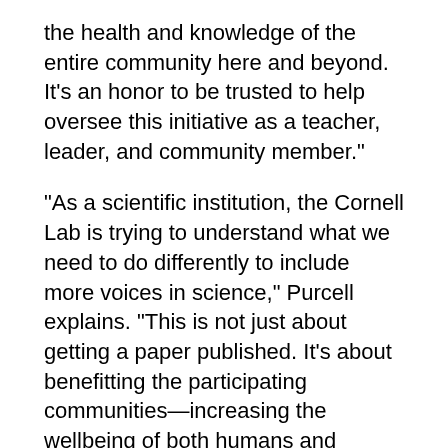the health and knowledge of the entire community here and beyond. It’s an honor to be trusted to help oversee this initiative as a teacher, leader, and community member.”
“As a scientific institution, the Cornell Lab is trying to understand what we need to do differently to include more voices in science,” Purcell explains. “This is not just about getting a paper published. It’s about benefitting the participating communities—increasing the wellbeing of both humans and birds.”
This project is funded by the National Science Foundation.